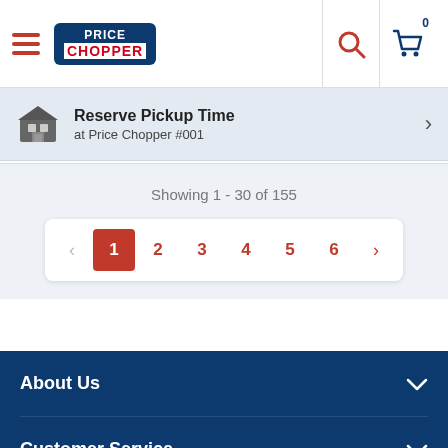[Figure (screenshot): Price Chopper grocery store app header with hamburger menu, Price Chopper logo, search icon, and cart icon with 0 badge]
Reserve Pickup Time at Price Chopper #001
Showing 1 - 30 of 155
[Figure (other): Pagination control showing pages 1 through 6 with page 1 selected in red, and previous/next arrows]
About Us
Customer Service
Quick Links